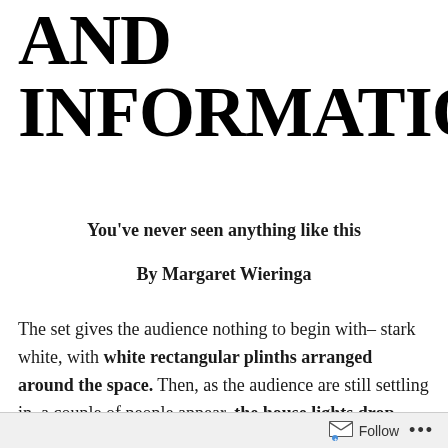AND INFORMATION
You've never seen anything like this
By Margaret Wieringa
The set gives the audience nothing to begin with– stark white, with white rectangular plinths arranged around the space. Then, as the audience are still settling in, a couple of people appear, the house lights drop suddenly and the rollercoaster is on.
Follow ...